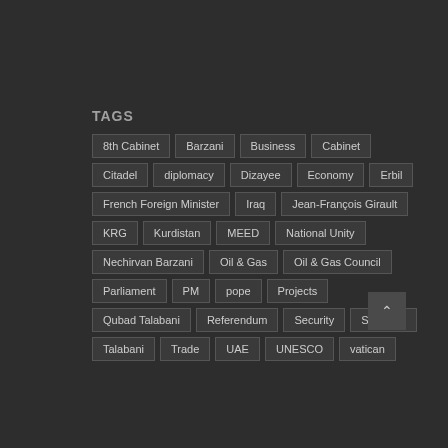TAGS
8th Cabinet
Barzani
Business
Cabinet
Citadel
diplomacy
Dizayee
Economy
Erbil
French Foreign Minister
Iraq
Jean-François Girault
KRG
Kurdistan
MEED
National Unity
Nechirvan Barzani
Oil & Gas
Oil & Gas Council
Parliament
PM
pope
Projects
Qubad Talabani
Referendum
Security
Shortage
Talabani
Trade
UAE
UNESCO
vatican